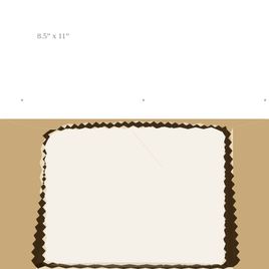8.5" x 11"
· · ·
[Figure (photo): A sheet of paper with burned/charred edges on all sides, photographed against a warm beige/cream background. The paper itself is cream/off-white and largely blank, with dark brown to black burnt edges creating an irregular, tattered border around the entire sheet.]